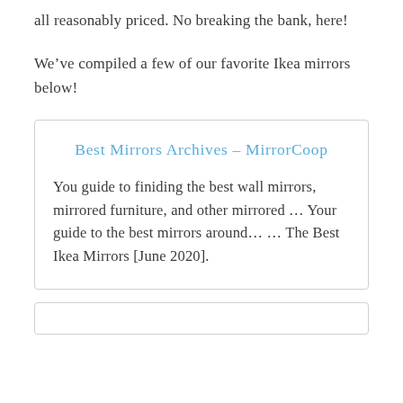all reasonably priced. No breaking the bank, here!
We’ve compiled a few of our favorite Ikea mirrors below!
Best Mirrors Archives – MirrorCoop

You guide to finiding the best wall mirrors, mirrored furniture, and other mirrored … Your guide to the best mirrors around… … The Best Ikea Mirrors [June 2020].